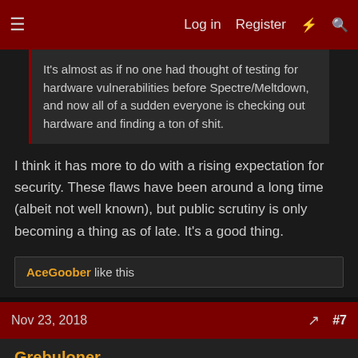Log in  Register  #7
It's almost as if no one had thought of testing for hardware vulnerabilities before Spectre/Meltdown, and now all of a sudden everyone is checking out hardware and finding a ton of shit.
I think it has more to do with a rising expectation for security. These flaws have been around a long time (albeit not well known), but public scrutiny is only becoming a thing as of late. It's a good thing.
AceGoober like this
Nov 23, 2018  #7
Grebuloner
[H]ard|Gawd
MNKyDeth said:
Makes me wonder if my Tnady 64k color computer that still works is vulnerable. Oh wait... It doesn't have internet... No issues then